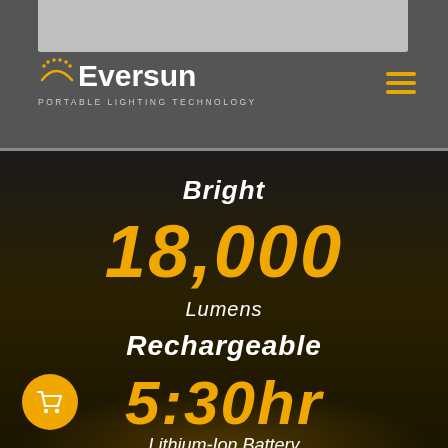[Figure (logo): Eversun Portable Lighting Technology logo with sun arc graphic and yellow star dots, white text on gray background, with hamburger menu icon in golden/amber color]
Bright
18,000
Lumens
Rechargeable
5:30hr
Lithium-Ion Battery